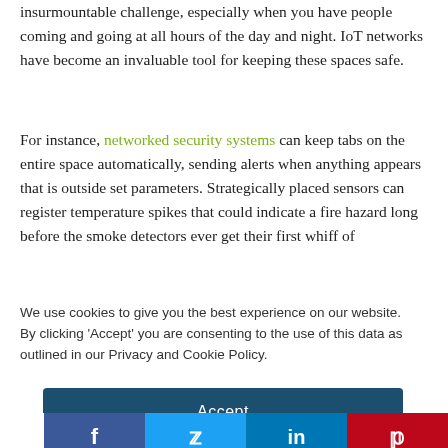insurmountable challenge, especially when you have people coming and going at all hours of the day and night. IoT networks have become an invaluable tool for keeping these spaces safe.
For instance, networked security systems can keep tabs on the entire space automatically, sending alerts when anything appears that is outside set parameters. Strategically placed sensors can register temperature spikes that could indicate a fire hazard long before the smoke detectors ever get their first whiff of
We use cookies to give you the best experience on our website. By clicking 'Accept' you are consenting to the use of this data as outlined in our Privacy and Cookie Policy.
Accept